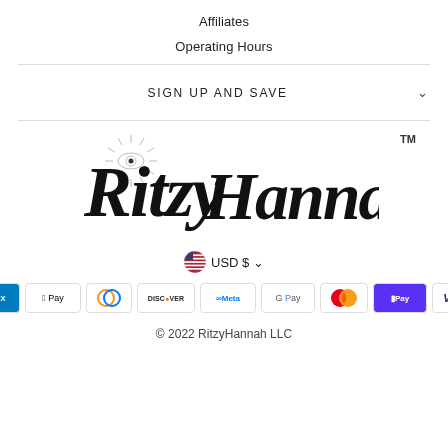Affiliates
Operating Hours
SIGN UP AND SAVE
[Figure (logo): RitzyHannah script logo with eye illustration and TM mark]
USD $
[Figure (infographic): Payment method badges: Amex, Apple Pay, Diners Club, Discover, Meta Pay, Google Pay, Mastercard, Shop Pay, Visa]
© 2022 RitzyHannah LLC